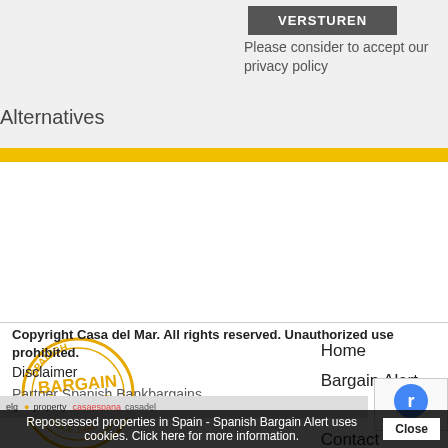VERSTUREN
Please consider to accept our privacy policy
Alternatives
[Figure (logo): Spanish Bargain Alert circular stamp logo in yellow/gold color]
Home
Bargain Alert
About
Contact
Copyright Casa del Mar. All rights reserved. Unauthorized use prohibited.
Disclaimer
Partner Spanish Bankbargains
Repossessed properties in Spain - Spanish Bargain Alert uses cookies. Click here for more information.